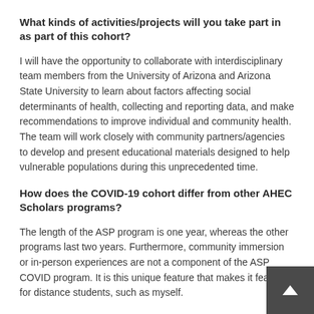What kinds of activities/projects will you take part in as part of this cohort?
I will have the opportunity to collaborate with interdisciplinary team members from the University of Arizona and Arizona State University to learn about factors affecting social determinants of health, collecting and reporting data, and make recommendations to improve individual and community health. The team will work closely with community partners/agencies to develop and present educational materials designed to help vulnerable populations during this unprecedented time.
How does the COVID-19 cohort differ from other AHEC Scholars programs?
The length of the ASP program is one year, whereas the other programs last two years. Furthermore, community immersion or in-person experiences are not a component of the ASP COVID program. It is this unique feature that makes it feasible for distance students, such as myself.